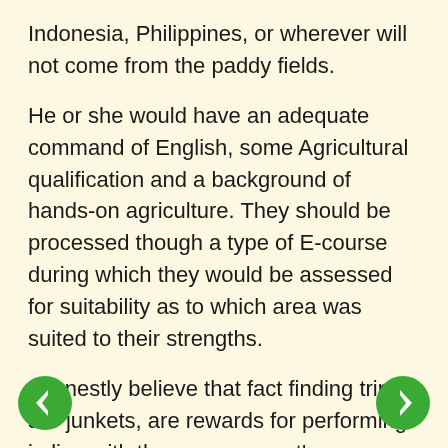Indonesia, Philippines, or wherever will not come from the paddy fields.
He or she would have an adequate command of English, some Agricultural qualification and a background of hands-on agriculture. They should be processed though a type of E-course during which they would be assessed for suitability as to which area was suited to their strengths.
I honestly believe that fact finding trips are junkets, are rewards for performing in line with the management's objectives and are a tool of management.
We are intending to alter cultural norms and